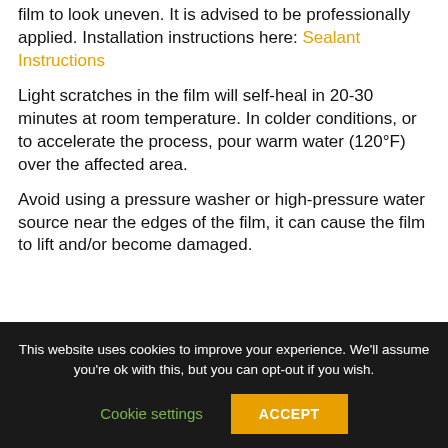film to look uneven. It is advised to be professionally applied. Installation instructions here: Sealant Instructions
Light scratches in the film will self-heal in 20-30 minutes at room temperature. In colder conditions, or to accelerate the process, pour warm water (120°F) over the affected area.
Avoid using a pressure washer or high-pressure water source near the edges of the film, it can cause the film to lift and/or become damaged.
This website uses cookies to improve your experience. We'll assume you're ok with this, but you can opt-out if you wish.
Cookie settings
ACCEPT